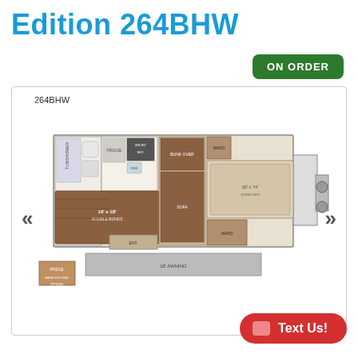Edition 264BHW
ON ORDER
[Figure (floorplan): RV floor plan diagram for the 264BHW model showing interior layout with bunk beds, bathroom, kitchen, dining area, wardrobe, and bed. Includes an Ease N' Store option callout. Navigation arrows on left and right sides.]
Text Us!